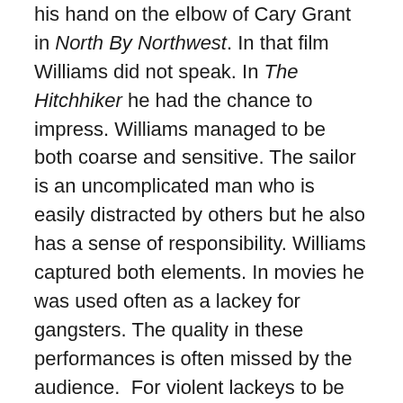his hand on the elbow of Cary Grant in North By Northwest. In that film Williams did not speak. In The Hitchhiker he had the chance to impress. Williams managed to be both coarse and sensitive. The sailor is an uncomplicated man who is easily distracted by others but he also has a sense of responsibility. Williams captured both elements. In movies he was used often as a lackey for gangsters. The quality in these performances is often missed by the audience.  For violent lackeys to be convincing, though, gangster films require an actor who can demonstrate weakness and a need to belong but also sufficient honour for obedience. Often this has to be done in sly looks and a few words. The Hitchhiker had a character that provided a part that the skills of Williams deserved. At one point inside the car, he says that his feet are warm. This has no consequence for the narrative but it indicates a man who only relaxes when he establishes